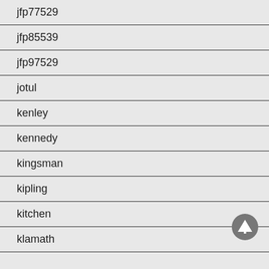jfp77529
jfp85539
jfp97529
jotul
kenley
kennedy
kingsman
kipling
kitchen
klamath